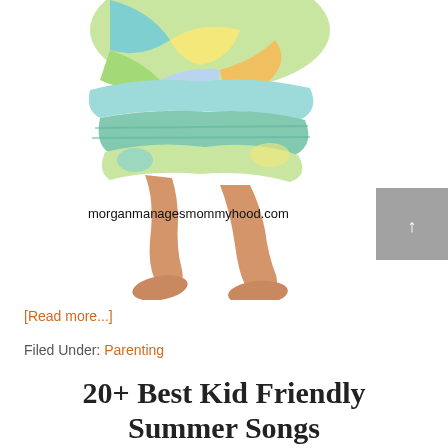[Figure (photo): A young child in a colorful patchwork dress (yellow, green, blue floral and plaid), walking barefoot. Only legs and the lower part of the dress are visible. White background. Watermark text reads: morganmanagesmommyhood.com with a grey box containing an upward arrow.]
[Read more...]
Filed Under: Parenting
20+ Best Kid Friendly Summer Songs